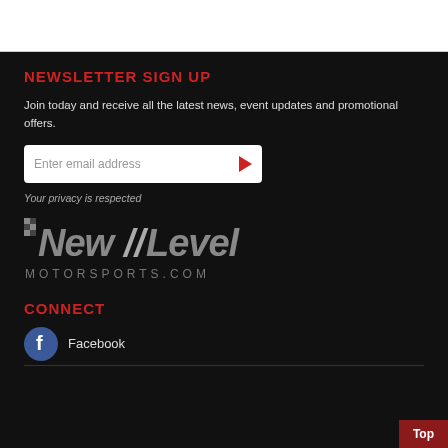NEWSLETTER SIGN UP
Join today and receive all the latest news, event updates and promotional offers.
Enter email address
Your privacy is respected
[Figure (logo): New Level Motorsports.com logo in italic silver/grey style text on black background]
CONNECT
Facebook
Top